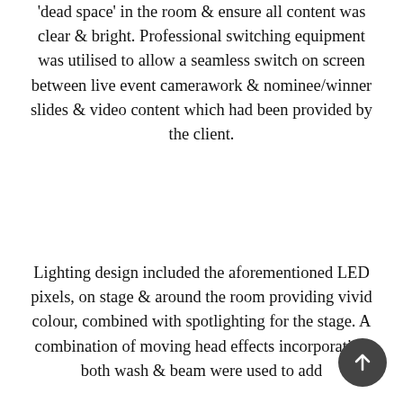'dead space' in the room & ensure all content was clear & bright. Professional switching equipment was utilised to allow a seamless switch on screen between live event camerawork & nominee/winner slides & video content which had been provided by the client.
Lighting design included the aforementioned LED pixels, on stage & around the room providing vivid colour, combined with spotlighting for the stage. A combination of moving head effects incorporating both wash & beam were used to add